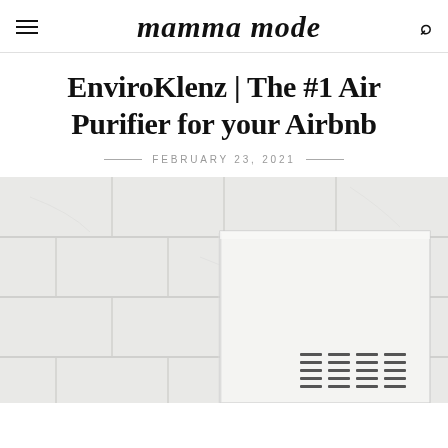mamma mode
EnviroKlenz | The #1 Air Purifier for your Airbnb
FEBRUARY 23, 2021
[Figure (photo): White air purifier device against a marble tile background]